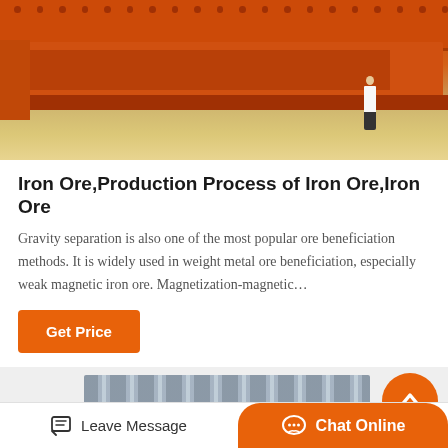[Figure (photo): Industrial orange iron ore processing machine/equipment photographed at a facility, with a person standing nearby for scale. The machine is large and orange-colored with riveted construction.]
Iron Ore,Production Process of Iron Ore,Iron Ore
Gravity separation is also one of the most popular ore beneficiation methods. It is widely used in weight metal ore beneficiation, especially weak magnetic iron ore. Magnetization-magnetic…
[Figure (other): Get Price button — orange rectangular button with white text]
[Figure (photo): Partial bottom section showing another piece of industrial equipment in gray, with a scroll-to-top orange circular button overlay]
Leave Message   Chat Online